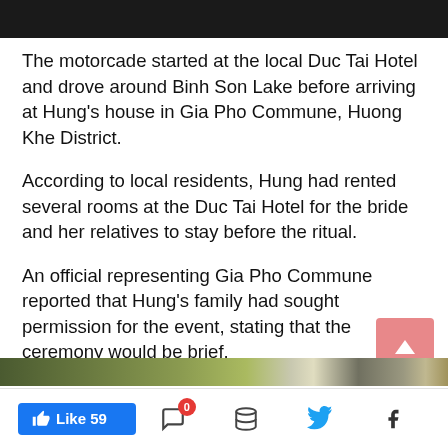The motorcade started at the local Duc Tai Hotel and drove around Binh Son Lake before arriving at Hung's house in Gia Pho Commune, Huong Khe District.
According to local residents, Hung had rented several rooms at the Duc Tai Hotel for the bride and her relatives to stay before the ritual.
An official representing Gia Pho Commune reported that Hung's family had sought permission for the event, stating that the ceremony would be brief.
Several medical workers were then tasked with monitoring the health of those who attended the wedding.
[Figure (photo): Partially visible image strip at bottom of article]
Like 59 | comment icon with 0 badge | layers icon | Twitter icon | Facebook icon